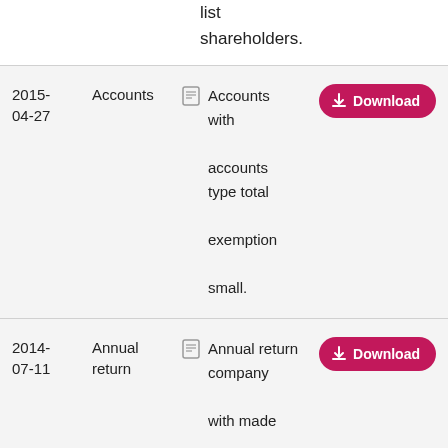list shareholders.
| Date | Type |  | Description | Action |
| --- | --- | --- | --- | --- |
| 2015-04-27 | Accounts |  | Accounts with accounts type total exemption small. | Download |
| 2014-07-11 | Annual return |  | Annual return company with made up date full list | Download |